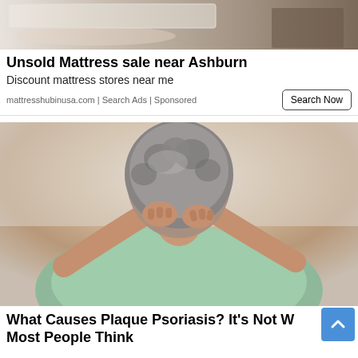[Figure (photo): Top portion of a person lying on a mattress/bedding, seen from behind, on a wooden floor]
Unsold Mattress sale near Ashburn
Discount mattress stores near me
mattresshubinusa.com | Search Ads | Sponsored
[Figure (photo): Elderly woman with grey curly hair scratching the back of her neck with both hands, wearing a green floral top]
What Causes Plaque Psoriasis? It’s Not What Most People Think